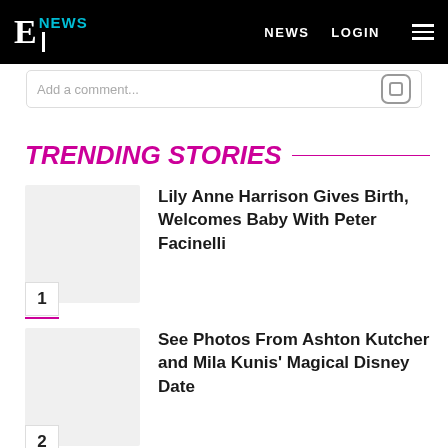E! NEWS  NEWS  LOGIN
Add a comment...
TRENDING STORIES
Lily Anne Harrison Gives Birth, Welcomes Baby With Peter Facinelli
1
See Photos From Ashton Kutcher and Mila Kunis' Magical Disney Date
2